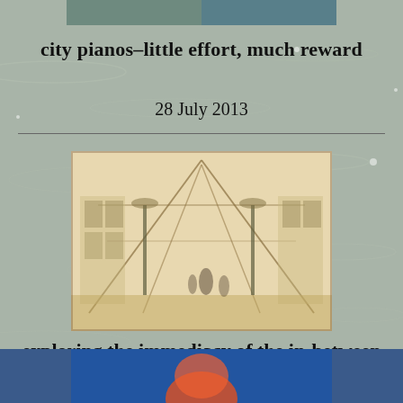[Figure (photo): Partial image at top of page, cropped]
city pianos–little effort, much reward
28 July 2013
[Figure (photo): Sepia-toned vintage photograph of an interior corridor or gallery hall with arched ceiling and lamp posts]
exploring the immediacy of the in-between place
23 June 2011
[Figure (photo): Partial image at bottom of page with blue background, cropped]